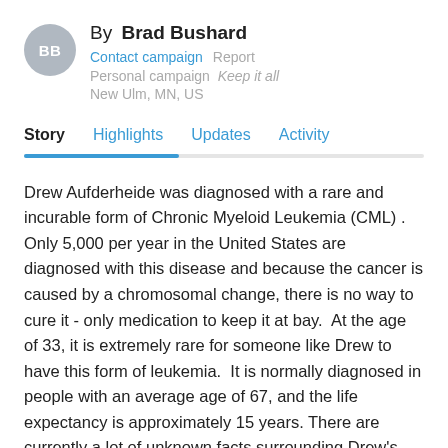By Brad Bushard
Contact campaign   Report
Personal campaign   Keep it all
New Ulm, MN, US
Story   Highlights   Updates   Activity
Drew Aufderheide was diagnosed with a rare and incurable form of Chronic Myeloid Leukemia (CML) .  Only 5,000 per year in the United States are diagnosed with this disease and because the cancer is caused by a chromosomal change, there is no way to cure it - only medication to keep it at bay.  At the age of 33, it is extremely rare for someone like Drew to have this form of leukemia.  It is normally diagnosed in people with an average age of 67, and the life expectancy is approximately 15 years. There are currently a lot of unknown facts surrounding Drew's case because physicians and oncologists do not often see CML in someone so young and